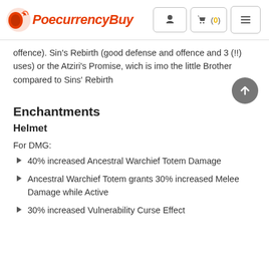PoecurrencyBuy — cart (0)
offence). Sin's Rebirth (good defense and offence and 3 (!!) uses) or the Atziri's Promise, wich is imo the little Brother compared to Sins' Rebirth
Enchantments
Helmet
For DMG:
40% increased Ancestral Warchief Totem Damage
Ancestral Warchief Totem grants 30% increased Melee Damage while Active
30% increased Vulnerability Curse Effect